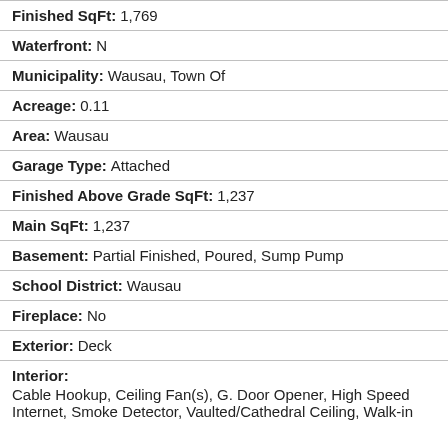Finished SqFt: 1,769
Waterfront: N
Municipality: Wausau, Town Of
Acreage: 0.11
Area: Wausau
Garage Type: Attached
Finished Above Grade SqFt: 1,237
Main SqFt: 1,237
Basement: Partial Finished, Poured, Sump Pump
School District: Wausau
Fireplace: No
Exterior: Deck
Interior: Cable Hookup, Ceiling Fan(s), G. Door Opener, High Speed Internet, Smoke Detector, Vaulted/Cathedral Ceiling, Walk-in